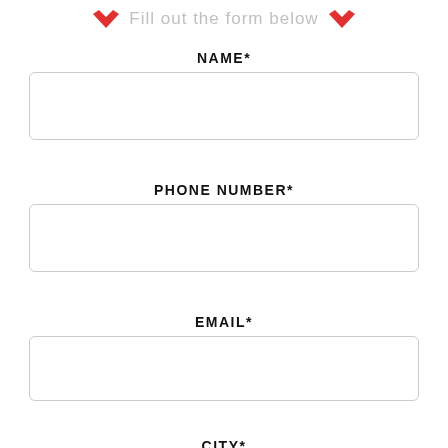Fill out the form below
NAME*
PHONE NUMBER*
EMAIL*
CITY*